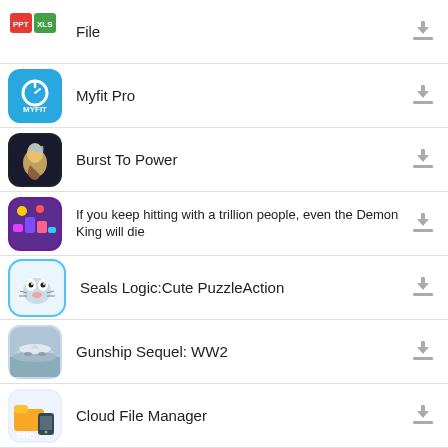File
Myfit Pro
Burst To Power
If you keep hitting with a trillion people, even the Demon King will die
Seals Logic:Cute PuzzleAction
Gunship Sequel: WW2
Cloud File Manager